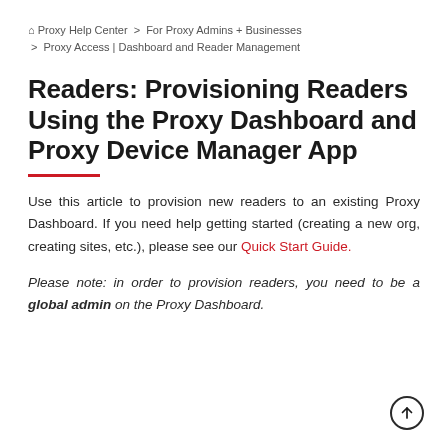🏠 Proxy Help Center > For Proxy Admins + Businesses > Proxy Access | Dashboard and Reader Management
Readers: Provisioning Readers Using the Proxy Dashboard and Proxy Device Manager App
Use this article to provision new readers to an existing Proxy Dashboard. If you need help getting started (creating a new org, creating sites, etc.), please see our Quick Start Guide.
Please note: in order to provision readers, you need to be a global admin on the Proxy Dashboard.